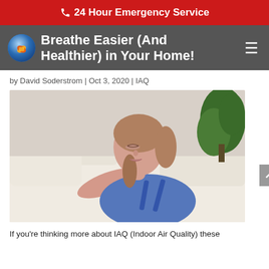📞 24 Hour Emergency Service
Breathe Easier (And Healthier) in Your Home!
by David Soderstrom | Oct 3, 2020 | IAQ
[Figure (photo): Woman lying on a couch with eyes closed, relaxing, wearing a blue top. Green plant visible in background. Indoor air quality themed photo.]
If you're thinking more about IAQ (Indoor Air Quality) these